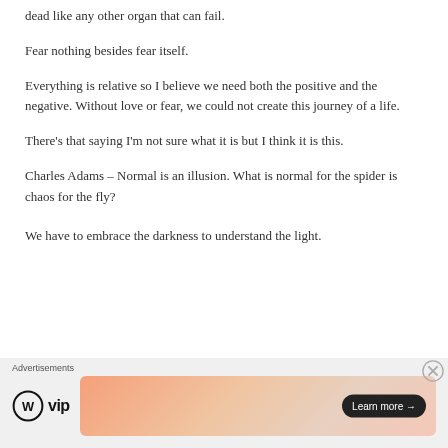dead like any other organ that can fail.
Fear nothing besides fear itself.
Everything is relative so I believe we need both the positive and the negative. Without love or fear, we could not create this journey of a life.
There's that saying I'm not sure what it is but I think it is this.
Charles Adams – Normal is an illusion. What is normal for the spider is chaos for the fly?
We have to embrace the darkness to understand the light.
Advertisements
[Figure (other): WordPress VIP advertisement banner with logo and Learn more button]